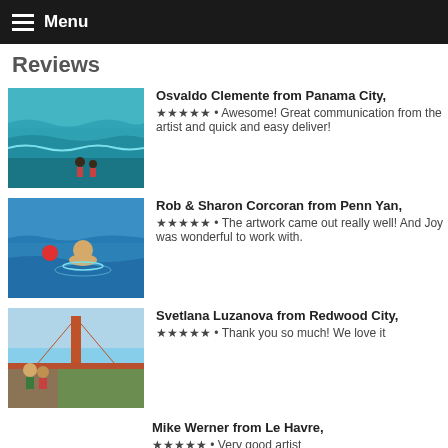Menu
Reviews
Osvaldo Clemente from Panama City, ★★★★★ • Awesome! Great communication from the artist and quick and easy deliver!
Rob & Sharon Corcoran from Penn Yan, ★★★★★ • The artwork came out really well! And Joy was wonderful to work with.
Svetlana Luzanova from Redwood City, ★★★★★ • Thank you so much! We love it
Mike Werner from Le Havre, ★★★★★ • Very good artist
Rochelle Waterhouse from Chicago, ★★★★★ • There was some confusion on